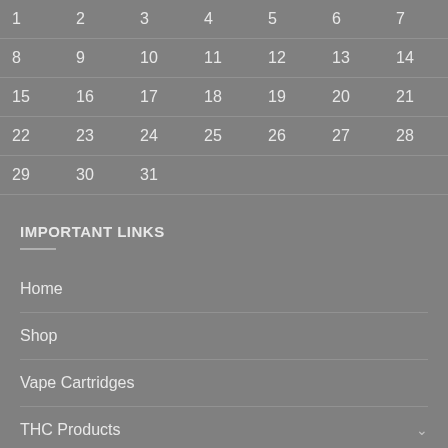| 1 | 2 | 3 | 4 | 5 | 6 | 7 |
| 8 | 9 | 10 | 11 | 12 | 13 | 14 |
| 15 | 16 | 17 | 18 | 19 | 20 | 21 |
| 22 | 23 | 24 | 25 | 26 | 27 | 28 |
| 29 | 30 | 31 |  |  |  |  |
IMPORTANT LINKS
Home
Shop
Vape Cartridges
THC Products